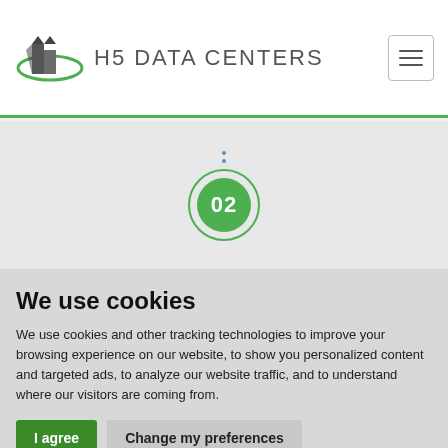[Figure (logo): H5 Data Centers logo with building icon and green orbit ring]
[Figure (infographic): Step number 02 displayed in a green filled circle with a thin green outer ring, above two blue dots indicating a vertical sequence]
We use cookies
We use cookies and other tracking technologies to improve your browsing experience on our website, to show you personalized content and targeted ads, to analyze our website traffic, and to understand where our visitors are coming from.
I agree  Change my preferences